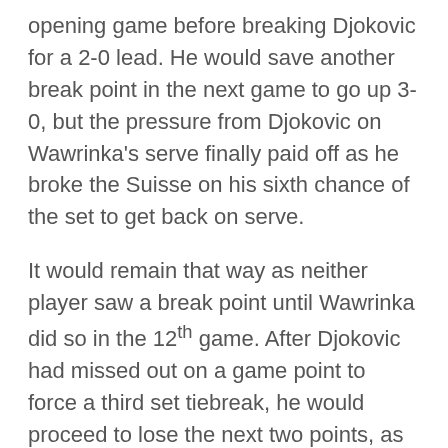opening game before breaking Djokovic for a 2-0 lead. He would save another break point in the next game to go up 3-0, but the pressure from Djokovic on Wawrinka's serve finally paid off as he broke the Suisse on his sixth chance of the set to get back on serve.
It would remain that way as neither player saw a break point until Wawrinka did so in the 12th game. After Djokovic had missed out on a game point to force a third set tiebreak, he would proceed to lose the next two points, as well as his service game and the set, allowing Wawrinka to go up two sets to one.
Djokovic, who won just three of the 17 break points that he had in the match, began dealing